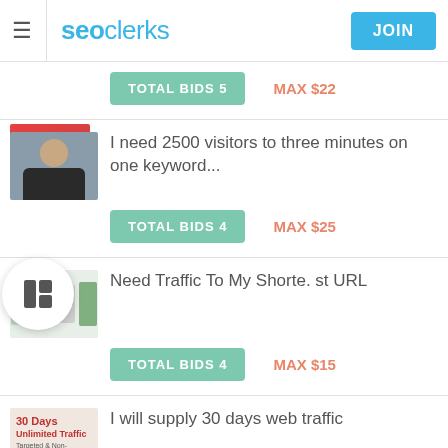seoclerks JOIN
TOTAL BIDS 5   MAX $22
I need 2500 visitors to three minutes on one keyword...
TOTAL BIDS 4   MAX $25
Need Traffic To My Shorte. st URL
TOTAL BIDS 4   MAX $15
I will supply 30 days web traffic
TOTAL BIDS 4   MAX $10